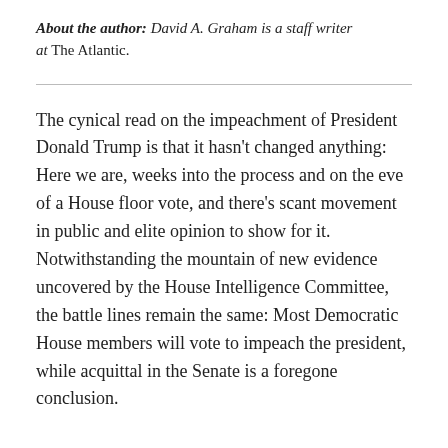About the author: David A. Graham is a staff writer at The Atlantic.
The cynical read on the impeachment of President Donald Trump is that it hasn't changed anything: Here we are, weeks into the process and on the eve of a House floor vote, and there's scant movement in public and elite opinion to show for it. Notwithstanding the mountain of new evidence uncovered by the House Intelligence Committee, the battle lines remain the same: Most Democratic House members will vote to impeach the president, while acquittal in the Senate is a foregone conclusion.